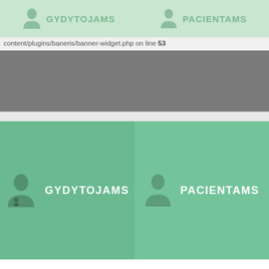GYDYTOJAMS  PACIENTAMS
content/plugins/baneris/banner-widget.php on line 53
[Figure (screenshot): Gray navigation banner area with hamburger menu icon on the right]
[Figure (infographic): Two green panels side by side: left panel with doctor icon and text GYDYTOJAMS, right panel with person icon and text PACIENTAMS]